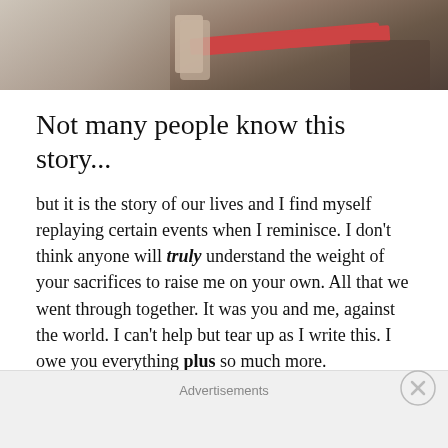[Figure (photo): Partial photo at top of page showing what appears to be hands and a red object, cropped]
Not many people know this story...
but it is the story of our lives and I find myself replaying certain events when I reminisce. I don't think anyone will truly understand the weight of your sacrifices to raise me on your own. All that we went through together. It was you and me, against the world. I can't help but tear up as I write this. I owe you everything plus so much more.
Some people may hear this story and feel pity and sympathy. But at my current age, as I reflect on what has taken place decades ago, I do not feel pity nor sympathy. Because I feel
Advertisements